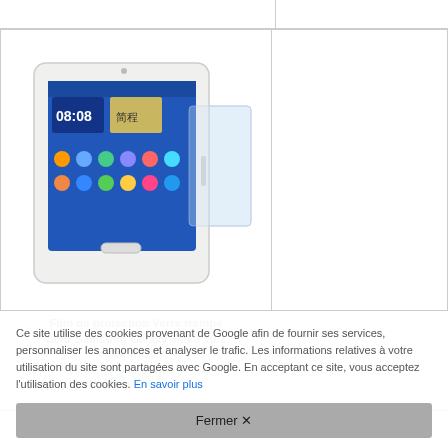[Figure (photo): Samsung Galaxy Tab 3 10.1 tablet with a tempered glass screen protector overlaid on it]
Film de protection Verre trempé pour Samsung Galaxy Tab 3 10.1 SM-P5200
15,99 €
Ce site utilise des cookies provenant de Google afin de fournir ses services, personnaliser les annonces et analyser le trafic. Les informations relatives à votre utilisation du site sont partagées avec Google. En acceptant ce site, vous acceptez l'utilisation des cookies. En savoir plus
Fermer ✕